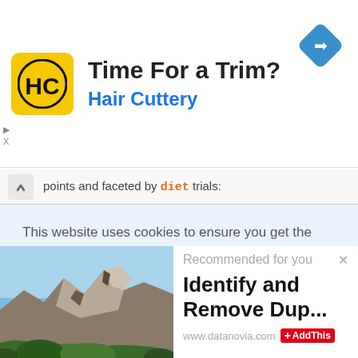[Figure (infographic): Hair Cuttery ad banner with yellow logo showing HC letters, title 'Time For a Trim?' and subtitle 'Hair Cuttery' in blue, with blue navigation/directions diamond icon on right.]
points and faceted by diet trials:
This website uses cookies to ensure you get the best experience on our website, to personalize content and ads and to analyze our traffic. We also share information about your use of our site with our social media, advertising and analytics partners such as
[Figure (photo): Landscape photo of rocky mountain ridgeline with blue sky and green trees/shrubs at base.]
Recommended for you
Identify and Remove Dup...
www.datanovia.com  AddThis